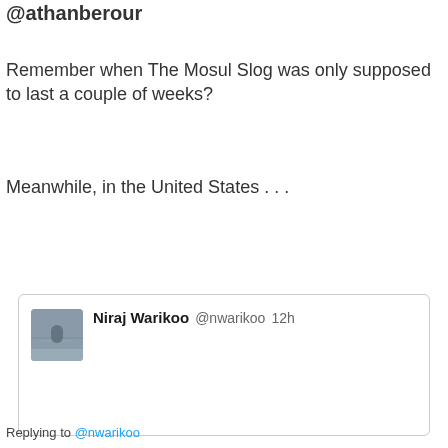@athanberour
Remember when The Mosul Slog was only supposed to last a couple of weeks?
Meanwhile, in the United States . . .
[Figure (screenshot): Tweet card showing Niraj Warikoo @nwarikoo 12h with a profile avatar image of a person near water in foggy conditions]
Replying to @nwarikoo